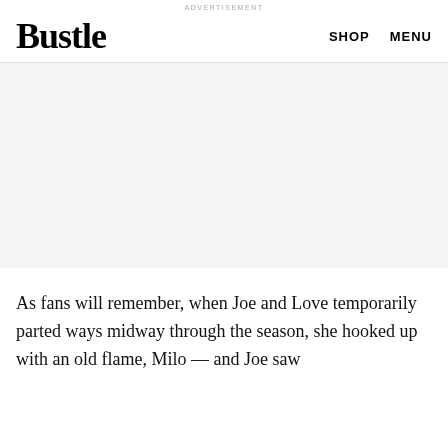ADVERTISEMENT
Bustle
SHOP   MENU
[Figure (other): Advertisement placeholder area with light grey background]
As fans will remember, when Joe and Love temporarily parted ways midway through the season, she hooked up with an old flame, Milo — and Joe saw